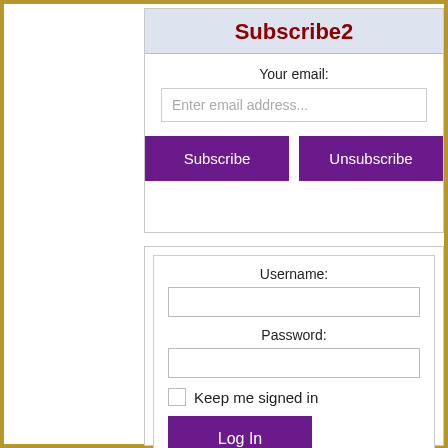Subscribe2
Your email:
Enter email address...
Subscribe
Unsubscribe
Username:
Password:
Keep me signed in
Log In